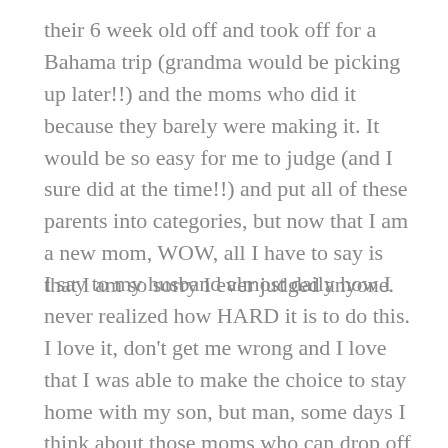their 6 week old off and took off for a Bahama trip (grandma would be picking up later!!) and the moms who did it because they barely were making it. It would be so easy for me to judge (and I sure did at the time!!) and put all of these parents into categories, but now that I am a new mom, WOW, all I have to say is that I am so sorry I ever judged anyone.
I say to my husband almost daily how I never realized how HARD it is to do this. I love it, don't get me wrong and I love that I was able to make the choice to stay home with my son, but man, some days I think about those moms who can drop off and at least breath for a few minutes in